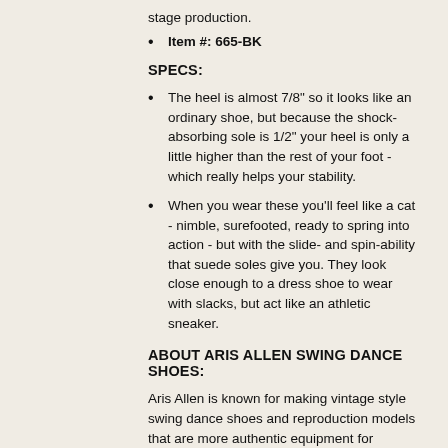stage production.
Item #: 665-BK
SPECS:
The heel is almost 7/8" so it looks like an ordinary shoe, but because the shock-absorbing sole is 1/2" your heel is only a little higher than the rest of your foot - which really helps your stability.
When you wear these you'll feel like a cat - nimble, surefooted, ready to spring into action - but with the slide- and spin-ability that suede soles give you. They look close enough to a dress shoe to wear with slacks, but act like an athletic sneaker.
ABOUT ARIS ALLEN SWING DANCE SHOES:
Aris Allen is known for making vintage style swing dance shoes and reproduction models that are more authentic equipment for dancing swing than ordinary ballroom shoes or sneakers will ever be. Their philosophy being that your dancing will look more authentic if you wear the same style of shoes the inventors of the dance were wearing. At the very least they feel you should be wearing something comfortable because swing dancing is like running tracks).